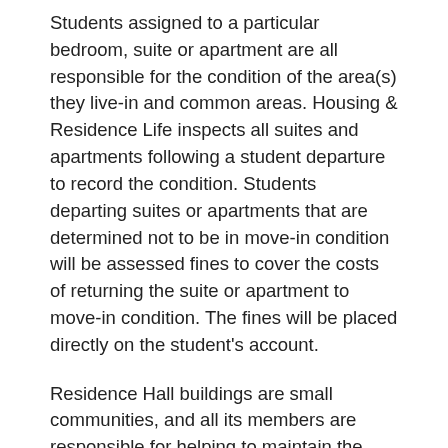Students assigned to a particular bedroom, suite or apartment are all responsible for the condition of the area(s) they live-in and common areas. Housing & Residence Life inspects all suites and apartments following a student departure to record the condition. Students departing suites or apartments that are determined not to be in move-in condition will be assessed fines to cover the costs of returning the suite or apartment to move-in condition. The fines will be placed directly on the student's account.
Residence Hall buildings are small communities, and all its members are responsible for helping to maintain the overall cleanliness of the community. Rutgers-Camden may only be your home for a period of time, but it is a home that you must share with others who expect a certain standard of living. We must all work together to provide the best atmosphere possible to allow us to accomplish our goals while we are here; we all must “Own Our Community.”
University Access to Student Apartments the Office of Housing & Residence Life is always mindful of the expectation of privacy